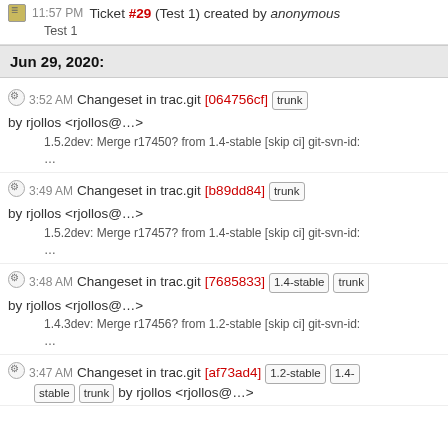11:57 PM Ticket #29 (Test 1) created by anonymous
Test 1
Jun 29, 2020:
3:52 AM Changeset in trac.git [064756cf] trunk by rjollos <rjollos@...>
1.5.2dev: Merge r17450? from 1.4-stable [skip ci] git-svn-id:
...
3:49 AM Changeset in trac.git [b89dd84] trunk by rjollos <rjollos@...>
1.5.2dev: Merge r17457? from 1.4-stable [skip ci] git-svn-id:
...
3:48 AM Changeset in trac.git [7685833] 1.4-stable trunk by rjollos <rjollos@...>
1.4.3dev: Merge r17456? from 1.2-stable [skip ci] git-svn-id:
...
3:47 AM Changeset in trac.git [af73ad4] 1.2-stable 1.4-stable trunk by rjollos <rjollos@...>